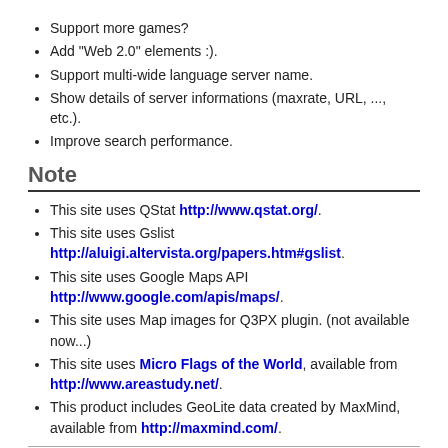Support more games?
Add "Web 2.0" elements :).
Support multi-wide language server name.
Show details of server informations (maxrate, URL, ..., etc.).
Improve search performance.
Note
This site uses QStat http://www.qstat.org/.
This site uses Gslist http://aluigi.altervista.org/papers.htm#gslist.
This site uses Google Maps API http://www.google.com/apis/maps/.
This site uses Map images for Q3PX plugin. (not available now...)
This site uses Micro Flags of the World, available from http://www.areastudy.net/.
This product includes GeoLite data created by MaxMind, available from http://maxmind.com/.
Guwashi / guwashi999 at gmail dot com